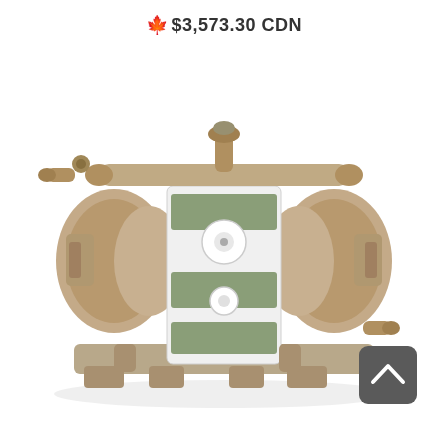🍁 $3,573.30 CDN
[Figure (photo): Industrial double diaphragm pump with metallic brass/bronze body, visible center manifold with white and green components, pipes and fittings visible on top, bottom ports, and sides. A scroll-to-top button (dark grey rounded rectangle with up chevron) overlays the bottom-right corner.]